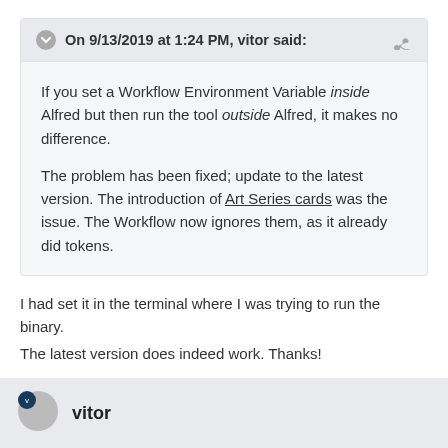On 9/13/2019 at 1:24 PM, vitor said:
If you set a Workflow Environment Variable inside Alfred but then run the tool outside Alfred, it makes no difference.
The problem has been fixed; update to the latest version. The introduction of Art Series cards was the issue. The Workflow now ignores them, as it already did tokens.
I had set it in the terminal where I was trying to run the binary.
The latest version does indeed work.  Thanks!
vitor